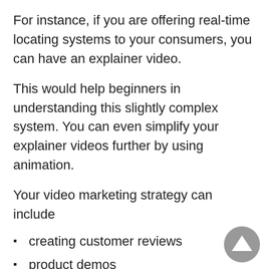For instance, if you are offering real-time locating systems to your consumers, you can have an explainer video.
This would help beginners in understanding this slightly complex system. You can even simplify your explainer videos further by using animation.
Your video marketing strategy can include
creating customer reviews
product demos
how-to-videos
vlogs in the initial stage.